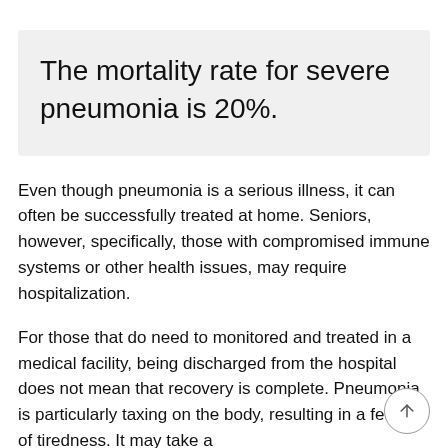The mortality rate for severe pneumonia is 20%.
Even though pneumonia is a serious illness, it can often be successfully treated at home. Seniors, however, specifically, those with compromised immune systems or other health issues, may require hospitalization.
For those that do need to monitored and treated in a medical facility, being discharged from the hospital does not mean that recovery is complete. Pneumonia is particularly taxing on the body, resulting in a feeling of tiredness. It may take a